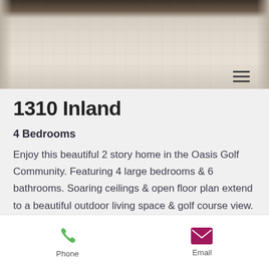[Figure (photo): Interior photo of a home showing light carpet flooring and a fireplace in the background]
1310 Inland
4 Bedrooms
Enjoy this beautiful 2 story home in the Oasis Golf Community. Featuring 4 large bedrooms & 6 bathrooms. Soaring ceilings & open floor plan extend to a beautiful outdoor living space & golf course view. Perfect home for entertaining featuring a 1st floor bedroom suite, gourmet kitchen, sun
Phone  Email